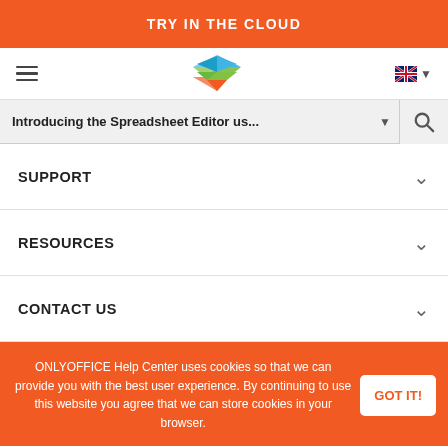TRY IN THE CLOUD
[Figure (logo): ONLYOFFICE stacked layers logo in blue, green, and orange]
Introducing the Spreadsheet Editor us...
SUPPORT
RESOURCES
CONTACT US
ONLYOFFICE Help Center uses cookies so that we can provide you with the best user experience. By continuing to use this website you agree that we can store cookies in your browser.